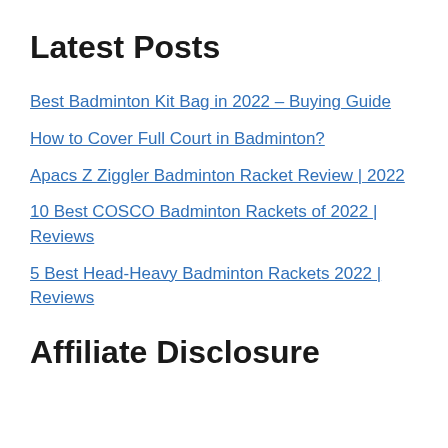Latest Posts
Best Badminton Kit Bag in 2022 – Buying Guide
How to Cover Full Court in Badminton?
Apacs Z Ziggler Badminton Racket Review | 2022
10 Best COSCO Badminton Rackets of 2022 | Reviews
5 Best Head-Heavy Badminton Rackets 2022 | Reviews
Affiliate Disclosure